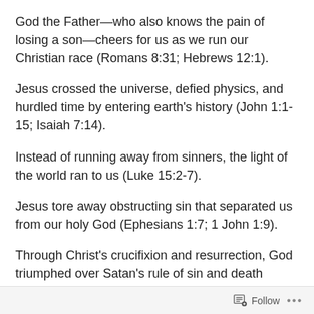God the Father—who also knows the pain of losing a son—cheers for us as we run our Christian race (Romans 8:31; Hebrews 12:1).
Jesus crossed the universe, defied physics, and hurdled time by entering earth's history (John 1:1-15; Isaiah 7:14).
Instead of running away from sinners, the light of the world ran to us (Luke 15:2-7).
Jesus tore away obstructing sin that separated us from our holy God (Ephesians 1:7; 1 John 1:9).
Through Christ's crucifixion and resurrection, God triumphed over Satan's rule of sin and death (Hebrews 2:14).
Follow ...